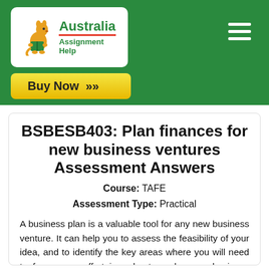[Figure (logo): Australia Assignment Help logo with kangaroo mascot in white rounded box on green header]
Buy Now »
BSBESB403: Plan finances for new business ventures Assessment Answers
Course: TAFE
Assessment Type: Practical
A business plan is a valuable tool for any new business venture. It can help you to assess the feasibility of your idea, and to identify the key areas where you will need to focus your effort in order to make your business successful. In this assessment, you will be required to